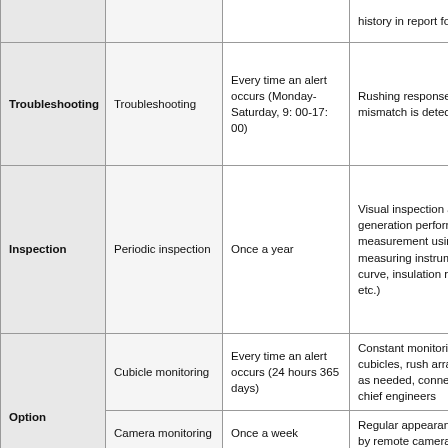| Category | Service Type | Frequency | Description |
| --- | --- | --- | --- |
|  |  |  | history in report format |
| Troubleshooting | Troubleshooting | Every time an alert occurs (Monday-Saturday, 9:00-17:00) | Rushing response when a mismatch is detected |
| Inspection | Periodic inspection | Once a year | Visual inspection and power generation performance measurement using measuring instruments (IV curve, insulation resistance, etc.) |
| Option | Cubicle monitoring | Every time an alert occurs (24 hours 365 days) | Constant monitoring of cubicles, rush arrangements as needed, connection of chief engineers |
| Option | Camera monitoring | Once a week | Regular appearance check by remote camera |
| Option | Visit on behalf of | As needed | Local visit based on customer's request |